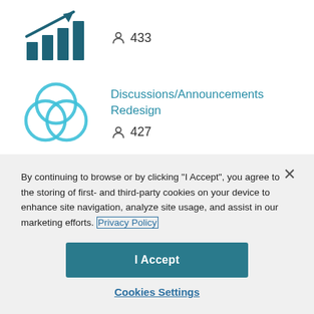[Figure (illustration): Dark teal bar chart icon with upward trending arrow]
433
[Figure (illustration): Three overlapping circles icon in light teal (Venn diagram style)]
Discussions/Announcements Redesign
427
By continuing to browse or by clicking "I Accept", you agree to the storing of first- and third-party cookies on your device to enhance site navigation, analyze site usage, and assist in our marketing efforts. Privacy Policy
I Accept
Cookies Settings
Kudos given
295